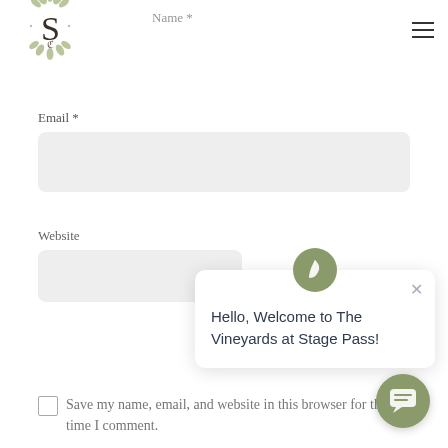[Figure (logo): Decorative monogram logo with floral/leaf elements around an ornate 'S' letter, positioned top-left]
Name *
Email *
Website
Save my name, email, and website in this browser for the next time I comment.
[Figure (screenshot): Chat popup with circle icon showing a leaf, close X button, and text: Hello, Welcome to The Vineyards at Stage Pass!]
[Figure (other): Green circle chat button at bottom right with speech bubble icon]